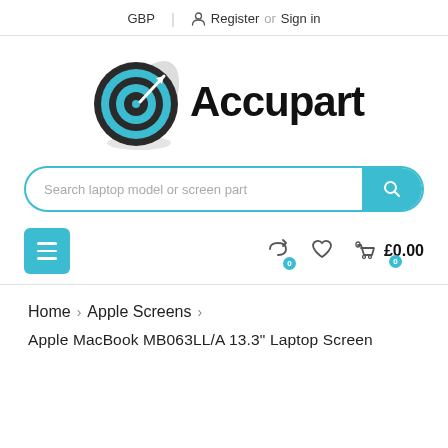GBP | Register or Sign in
[Figure (logo): Accupart logo: target/bullseye icon in blue and dark grey with the word Accupart in bold black]
Search laptop model or screen part
≡ (menu button) | 0 (compare) | (wishlist) | 0 £0.00 (cart)
Home > Apple Screens >
Apple MacBook MB063LL/A 13.3" Laptop Screen